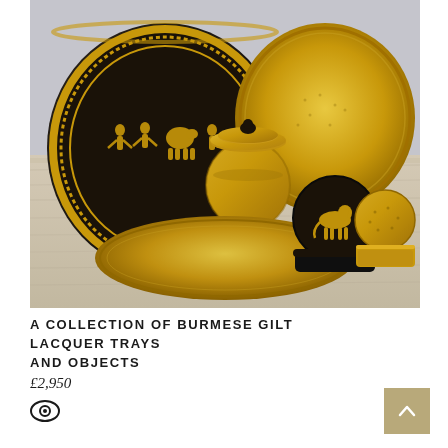[Figure (photo): A collection of Burmese gilt lacquer trays and objects arranged on a wooden surface. Items include two large round brass/gilt trays (one with black lacquer decoration showing figures, one plain gilt), a round gilt pot with lid, a black lacquer round box with horse motif, and a small gilt textured cylindrical container.]
A COLLECTION OF BURMESE GILT LACQUER TRAYS AND OBJECTS
£2,950